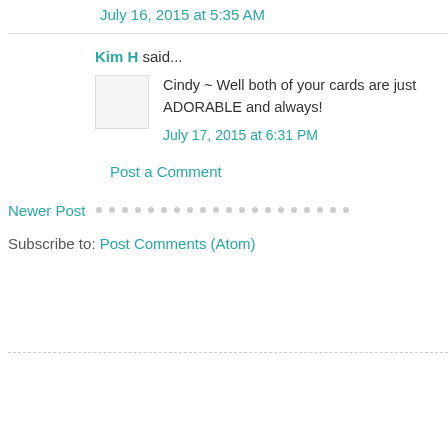July 16, 2015 at 5:35 AM
Kim H said...
Cindy ~ Well both of your cards are just ADORABLE and always!
July 17, 2015 at 6:31 PM
Post a Comment
Newer Post
Subscribe to: Post Comments (Atom)